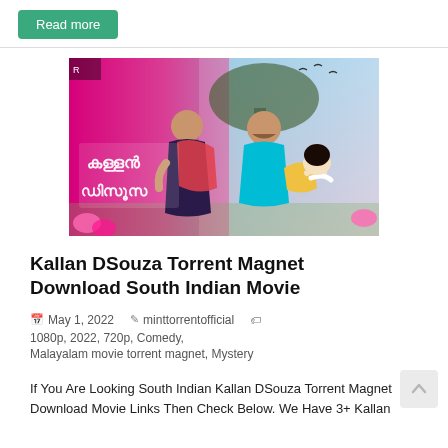Read more
[Figure (photo): Movie poster for Kallan DSouza, a Malayalam film, showing a woman in a saree, a man in a teal t-shirt carrying a child, against a pink and sky-blue background with Malayalam title text.]
Kallan DSouza Torrent Magnet Download South Indian Movie
May 1, 2022   minttorrentofficial   1080p, 2022, 720p, Comedy, Malayalam movie torrent magnet, Mystery
If You Are Looking South Indian Kallan DSouza Torrent Magnet Download Movie Links Then Check Below. We Have 3+ Kallan